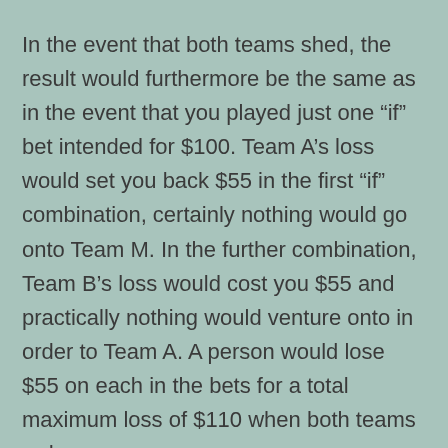In the event that both teams shed, the result would furthermore be the same as in the event that you played just one “if” bet intended for $100. Team A’s loss would set you back $55 in the first “if” combination, certainly nothing would go onto Team M. In the further combination, Team B’s loss would cost you $55 and practically nothing would venture onto in order to Team A. A person would lose $55 on each in the bets for a total maximum loss of $110 when both teams reduce.